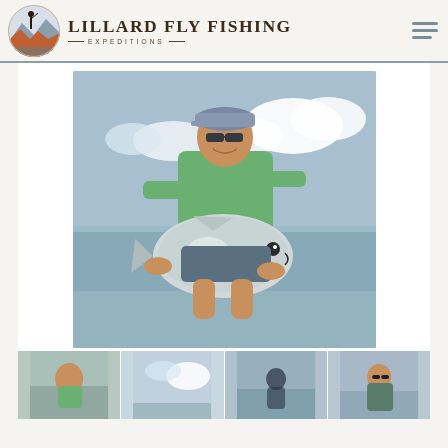Lillard Fly Fishing Expeditions
[Figure (photo): Man standing in shallow water holding a large permit fish, wearing green fishing shirt, sunglasses, and a cap. Cloudy sky in background.]
[Figure (photo): Thumbnail 1: Angler in green shirt in shallow water]
[Figure (photo): Thumbnail 2: Sky and clouds over water]
[Figure (photo): Thumbnail 3: Person wading in water viewed from behind]
[Figure (photo): Thumbnail 4: Angler with sunglasses holding fish]